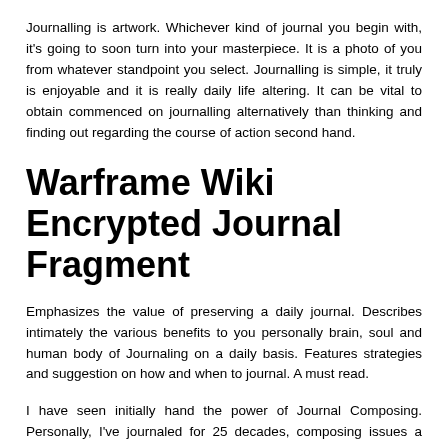Journalling is artwork. Whichever kind of journal you begin with, it's going to soon turn into your masterpiece. It is a photo of you from whatever standpoint you select. Journalling is simple, it truly is enjoyable and it is really daily life altering. It can be vital to obtain commenced on journalling alternatively than thinking and finding out regarding the course of action second hand.
Warframe Wiki Encrypted Journal Fragment
Emphasizes the value of preserving a daily journal. Describes intimately the various benefits to you personally brain, soul and human body of Journaling on a daily basis. Features strategies and suggestion on how and when to journal. A must read.
I have seen initially hand the power of Journal Composing. Personally, I've journaled for 25 decades, composing issues a single